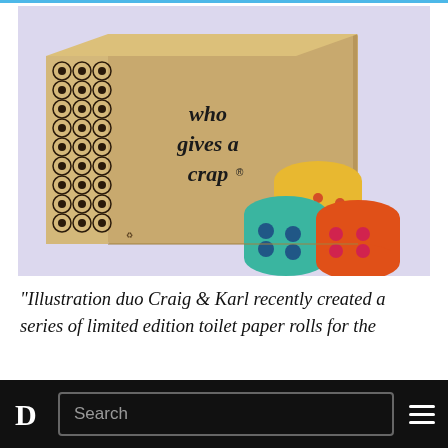[Figure (photo): A cardboard box printed with black geometric pattern on the side and 'who gives a crap' text on the front, displayed next to three colorful patterned toilet paper rolls on a light purple background.]
“Illustration duo Craig & Karl recently created a series of limited edition toilet paper rolls for the